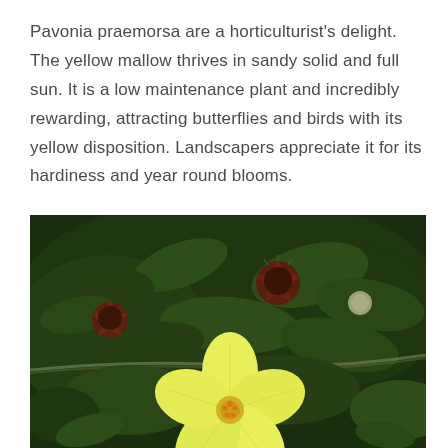Pavonia praemorsa are a horticulturist's delight. The yellow mallow thrives in sandy solid and full sun. It is a low maintenance plant and incredibly rewarding, attracting butterflies and birds with its yellow disposition. Landscapers appreciate it for its hardiness and year round blooms.
[Figure (photo): Close-up photograph of Pavonia praemorsa (yellow mallow) plant showing green foliage, dark red seed pods, and a bright yellow five-petaled flower with orange stamens in the foreground, against a dark green leafy background.]